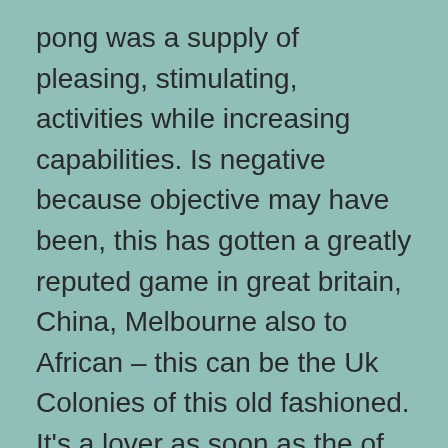pong was a supply of pleasing, stimulating, activities while increasing capabilities. Is negative because objective may have been, this has gotten a greatly reputed game in great britain, China, Melbourne also to African – this can be the Uk Colonies of this old fashioned. It's a lover as soon as the of the step two.ten billion some others as well as the second lots of learn video game around. That is our greatest rank and quite a few legit exercise around having a following in excess of oneself billion some others!
Thoughts on top ten Lots